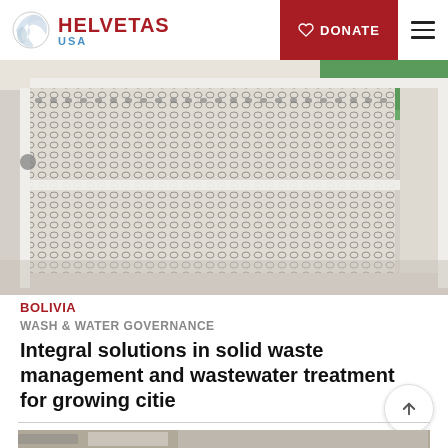HELVETAS USA — DONATE
[Figure (photo): Close-up photograph of a white metal mesh/diamond-pattern grate or fence, with green and outdoor elements visible in the background.]
BOLIVIA
WASH & WATER GOVERNANCE
Integral solutions in solid waste management and wastewater treatment for growing cities